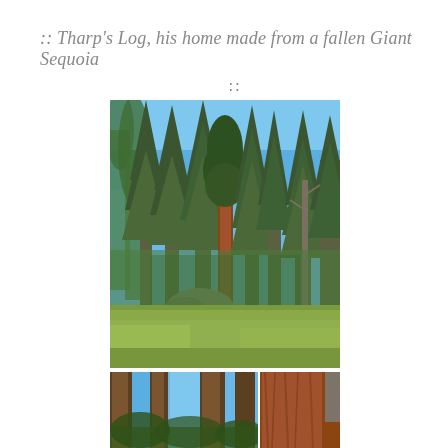:: Tharp's Log, his home made from a fallen Giant Sequoia ::
[Figure (photo): Tall Giant Sequoia and conifer trees in a forest clearing with blue sky, green grass meadow in foreground, reddish-brown sequoia trunk visible in center]
[Figure (photo): Close-up views of Giant Sequoia tree trunks and canopy from below, two partial images side by side]